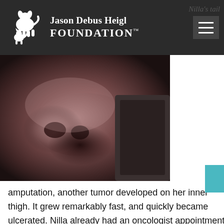Nilla's tail
[Figure (logo): Jason Debus Heigl Foundation logo with white dog and cat silhouette on dark background, with hamburger menu icon]
[Figure (photo): Close-up photograph of a dog's nose and snout, dark background]
amputation, another tumor developed on her inner thigh. It grew remarkably fast, and quickly became ulcerated. Nilla already had an oncologist appointment scheduled at the recommended two weeks post-op. By that time, the tumor was quite large (several inches long and a couple inches wide), and bleeding